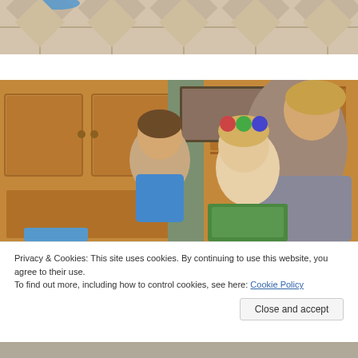[Figure (photo): Partial view of a patterned floor with diamond/cross shapes in beige and tan tones, with a blue object partially visible at top left]
[Figure (photo): Indoor scene with two children and an adult woman near wooden cabinets. A young boy stands on the left and a toddler with blonde hair is held by a woman on the right, green wall visible in background]
Privacy & Cookies: This site uses cookies. By continuing to use this website, you agree to their use.
To find out more, including how to control cookies, see here: Cookie Policy
Close and accept